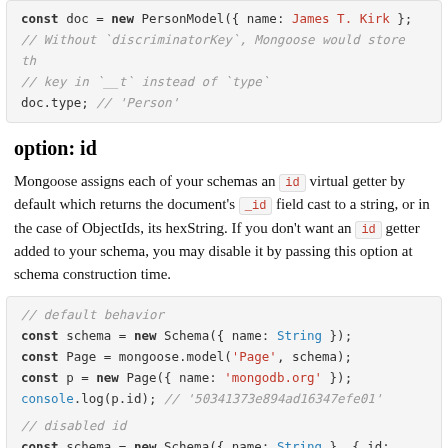[Figure (screenshot): Code block showing PersonModel usage with discriminatorKey, displaying: const doc = new PersonModel({ name: 'James T. Kirk' }); // Without `discriminatorKey`, Mongoose would store th // key in `__t` instead of `type` doc.type; // 'Person']
option: id
Mongoose assigns each of your schemas an id virtual getter by default which returns the document's _id field cast to a string, or in the case of ObjectIds, its hexString. If you don't want an id getter added to your schema, you may disable it by passing this option at schema construction time.
[Figure (screenshot): Code block showing default and disabled id behavior with Schema and mongoose.model examples]